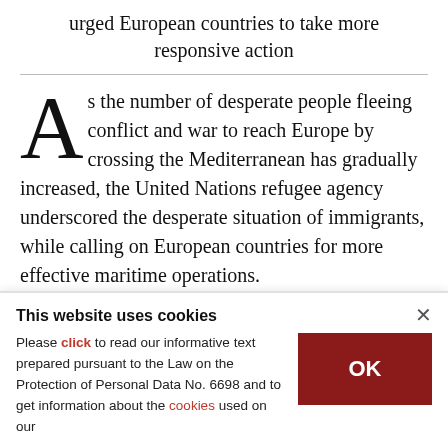urged European countries to take more responsive action
As the number of desperate people fleeing conflict and war to reach Europe by crossing the Mediterranean has gradually increased, the United Nations refugee agency underscored the desperate situation of immigrants, while calling on European countries for more effective maritime operations.
This website uses cookies
Please click to read our informative text prepared pursuant to the Law on the Protection of Personal Data No. 6698 and to get information about the cookies used on our